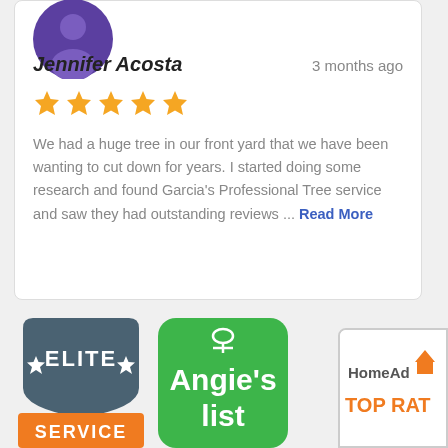[Figure (illustration): Purple circular avatar icon with a person silhouette, partially cropped at the top of the review card]
Jennifer Acosta
3 months ago
[Figure (illustration): 5 orange star rating icons]
We had a huge tree in our front yard that we have been wanting to cut down for years. I started doing some research and found Garcia's Professional Tree service and saw they had outstanding reviews ... Read More
[Figure (logo): Elite Service badge with orange and teal colors, star icons flanking the word ELITE, and SERVICE text below]
[Figure (logo): Angie's list green badge with white text]
[Figure (logo): HomeAdvisor Top Rated badge, partially visible, white background with orange text]